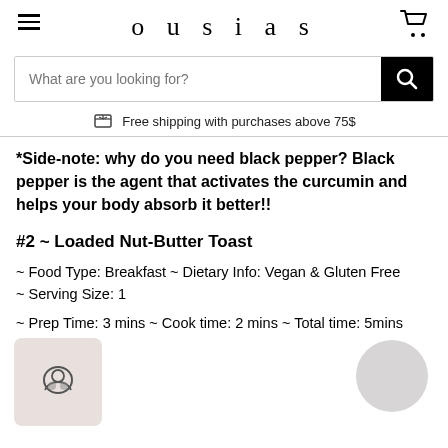ousias
What are you looking for?
Free shipping with purchases above 75$
*Side-note: why do you need black pepper? Black pepper is the agent that activates the curcumin and helps your body absorb it better!!
#2 ~ Loaded Nut-Butter Toast
~ Food Type: Breakfast ~ Dietary Info: Vegan & Gluten Free ~ Serving Size: 1
~ Prep Time: 3 mins ~ Cook time: 2 mins ~ Total time: 5mins